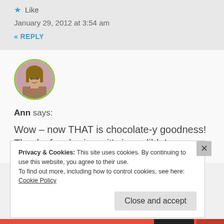★ Like
January 29, 2012 at 3:54 am
« REPLY
[Figure (photo): Circular avatar photo of a woman with light brown hair, framed with a green border]
Ann says:
Wow – now THAT is chocolate-y goodness! Thanks for sharing...it's incredible!
Privacy & Cookies: This site uses cookies. By continuing to use this website, you agree to their use.
To find out more, including how to control cookies, see here:
Cookie Policy
Close and accept